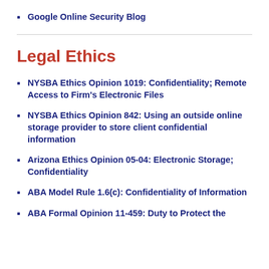Google Online Security Blog
Legal Ethics
NYSBA Ethics Opinion 1019: Confidentiality; Remote Access to Firm's Electronic Files
NYSBA Ethics Opinion 842: Using an outside online storage provider to store client confidential information
Arizona Ethics Opinion 05-04: Electronic Storage; Confidentiality
ABA Model Rule 1.6(c): Confidentiality of Information
ABA Formal Opinion 11-459: Duty to Protect the